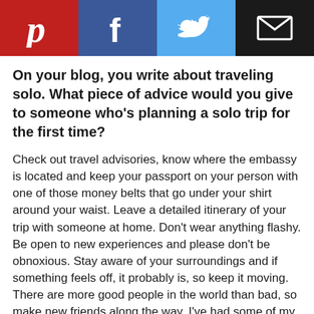[Figure (infographic): Social sharing bar with four buttons: Pinterest (red), Facebook (dark blue), Twitter (light blue), Email/mail (black)]
On your blog, you write about traveling solo. What piece of advice would you give to someone who's planning a solo trip for the first time?
Check out travel advisories, know where the embassy is located and keep your passport on your person with one of those money belts that go under your shirt around your waist. Leave a detailed itinerary of your trip with someone at home. Don't wear anything flashy. Be open to new experiences and please don't be obnoxious. Stay aware of your surroundings and if something feels off, it probably is, so keep it moving. There are more good people in the world than bad, so make new friends along the way. I've had some of my best travels alone with locals opening their homes, sharing their food, customs and traditions simply because I smiled and was friendly!